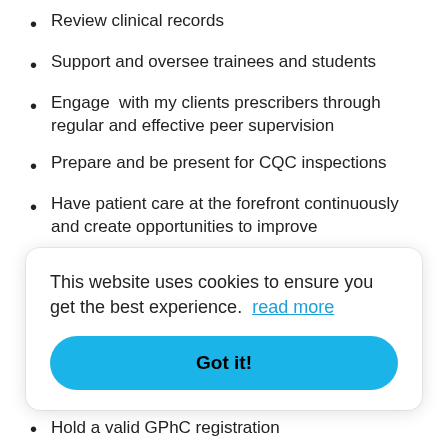Review clinical records
Support and oversee trainees and students
Engage  with my clients prescribers through regular and effective peer supervision
Prepare and be present for CQC inspections
Have patient care at the forefront continuously and create opportunities to improve
Attend key events and meetings to promote and
This website uses cookies to ensure you get the best experience. read more
Hold a valid GPhC registration